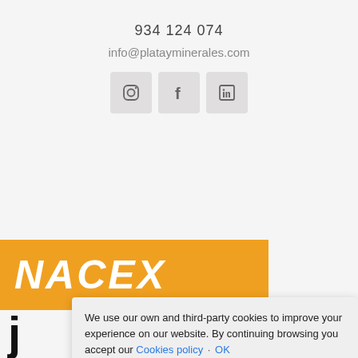934 124 074
info@platayminerales.com
[Figure (other): Social media icons: Instagram, Facebook, LinkedIn in square rounded buttons]
[Figure (logo): NACEX courier company logo on orange background with white italic bold text]
We use our own and third-party cookies to improve your experience on our website. By continuing browsing you accept our Cookies policy · OK
Accept all
Accept strictly necessary
Change my preferences